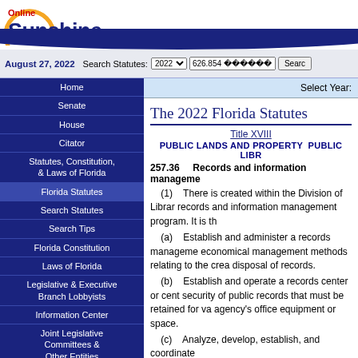[Figure (logo): Online Sunshine logo with sun arc and blue text]
August 27, 2022  Search Statutes: 2022  626.854 ������  Search
Home
Senate
House
Citator
Statutes, Constitution, & Laws of Florida
Florida Statutes
Search Statutes
Search Tips
Florida Constitution
Laws of Florida
Legislative & Executive Branch Lobbyists
Information Center
Joint Legislative Committees & Other Entities
Historical Committees
Florida Government Efficiency Task Force
Legislative Employment
Legistore
Select Year:
The 2022 Florida Statutes
Title XVIII
PUBLIC LANDS AND PROPERTY  PUBLIC LIBR
257.36    Records and information management
(1)    There is created within the Division of Librar records and information management program. It is th
(a)    Establish and administer a records manageme economical management methods relating to the crea disposal of records.
(b)    Establish and operate a records center or cent security of public records that must be retained for va agency's office equipment or space.
(c)    Analyze, develop, establish, and coordinate